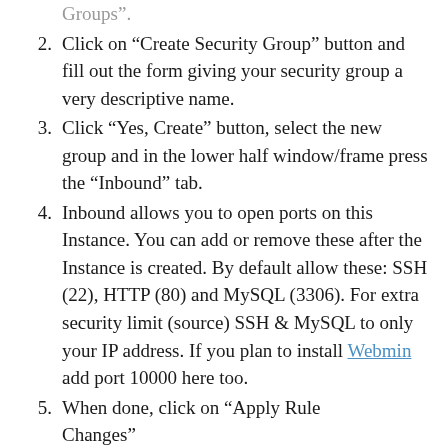Groups”.
Click on “Create Security Group” button and fill out the form giving your security group a very descriptive name.
Click “Yes, Create” button, select the new group and in the lower half window/frame press the “Inbound” tab.
Inbound allows you to open ports on this Instance. You can add or remove these after the Instance is created. By default allow these: SSH (22), HTTP (80) and MySQL (3306). For extra security limit (source) SSH & MySQL to only your IP address. If you plan to install Webmin add port 10000 here too.
When done, click on “Apply Rule Changes”